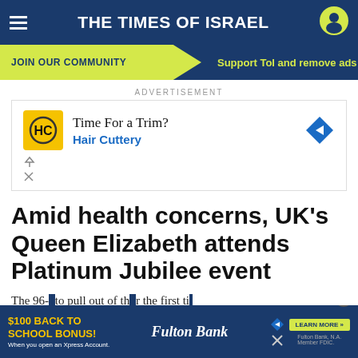THE TIMES OF ISRAEL
JOIN OUR COMMUNITY   Support ToI and remove ads
ADVERTISEMENT
[Figure (other): Hair Cuttery advertisement banner: yellow HC logo, text 'Time For a Trim? Hair Cuttery', blue diamond arrow icon]
Amid health concerns, UK's Queen Elizabeth attends Platinum Jubilee event
The 96- [year-old queen had threatened] to pull out of th[e events, missing the first da]r the first ti[me]
[Figure (other): Fulton Bank advertisement: '$100 BACK TO SCHOOL BONUS! When you open an Xpress Account.' Fulton Bank logo, Learn More button, FDIC notice]